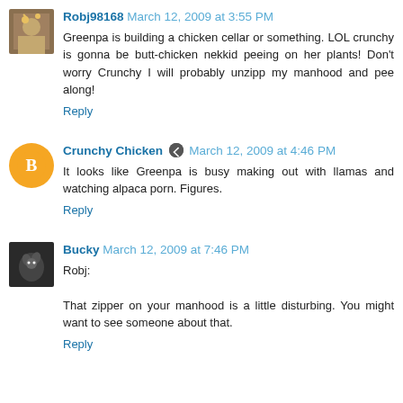Robj98168 March 12, 2009 at 3:55 PM
Greenpa is building a chicken cellar or something. LOL crunchy is gonna be butt-chicken nekkid peeing on her plants! Don't worry Crunchy I will probably unzipp my manhood and pee along!
Reply
Crunchy Chicken March 12, 2009 at 4:46 PM
It looks like Greenpa is busy making out with llamas and watching alpaca porn. Figures.
Reply
Bucky March 12, 2009 at 7:46 PM
Robj:

That zipper on your manhood is a little disturbing. You might want to see someone about that.
Reply